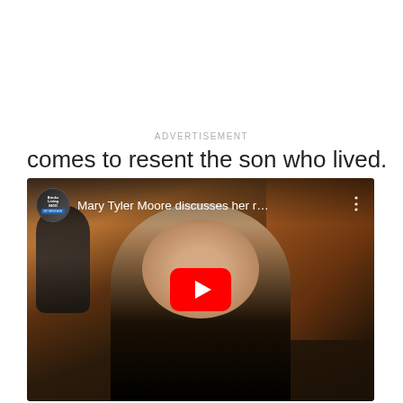ADVERTISEMENT
comes to resent the son who lived.
[Figure (screenshot): YouTube video embed thumbnail showing a woman (Mary Tyler Moore) seated in a chair, with a dark statue visible on the left side and warm orange/brown background tones. The video title reads 'Mary Tyler Moore discusses her r…' with a channel icon on the left and a three-dot menu on the right. A red YouTube play button is centered over the thumbnail.]